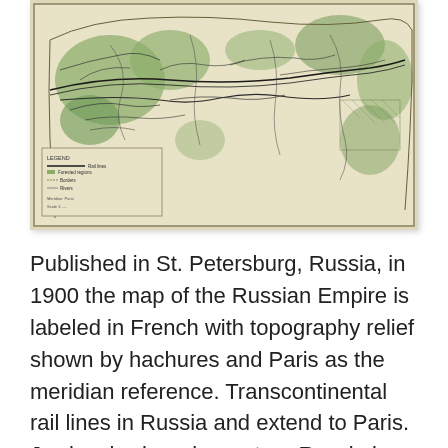[Figure (map): A historical map of the Russian Empire published in St. Petersburg in 1900. The map is labeled in French, shows topography relief by hachures, transcontinental rail lines, and uses Paris as the meridian reference. The map has a beige/cream background with green shaded regions and black lines indicating rail routes and borders. A legend box is visible in the lower left.]
Published in St. Petersburg, Russia, in 1900 the map of the Russian Empire is labeled in French with topography relief shown by hachures and Paris as the meridian reference. Transcontinental rail lines in Russia and extend to Paris. Jawlensky, born in western Russia in 1864 was stationed in the 1880's as a soldier in Moscow and St. Petersburg. As a professional artist in